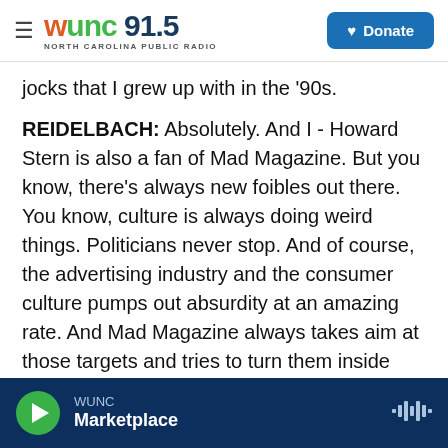WUNC 91.5 North Carolina Public Radio | Donate
jocks that I grew up with in the '90s.
REIDELBACH: Absolutely. And I - Howard Stern is also a fan of Mad Magazine. But you know, there's always new foibles out there. You know, culture is always doing weird things. Politicians never stop. And of course, the advertising industry and the consumer culture pumps out absurdity at an amazing rate. And Mad Magazine always takes aim at those targets and tries to turn them inside out, upside down, make it funny and make it insightful at the same time.
WUNC Marketplace